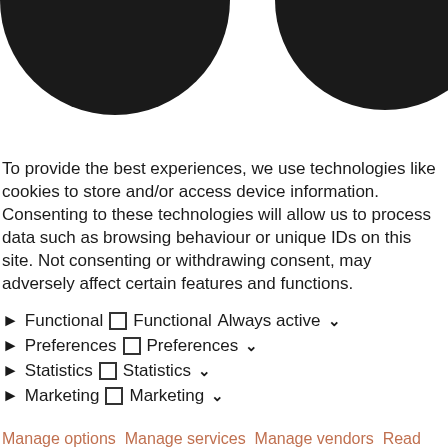[Figure (illustration): Two black circular/oval shapes visible at the top of the page, partially cropped — one on the left and one on the right, resembling a cookie consent dialog decoration.]
To provide the best experiences, we use technologies like cookies to store and/or access device information. Consenting to these technologies will allow us to process data such as browsing behaviour or unique IDs on this site. Not consenting or withdrawing consent, may adversely affect certain features and functions.
Functional  □ Functional Always active ∨
Preferences  □ Preferences ∨
Statistics  □ Statistics ∨
Marketing  □ Marketing ∨
Manage options Manage services Manage vendors Read